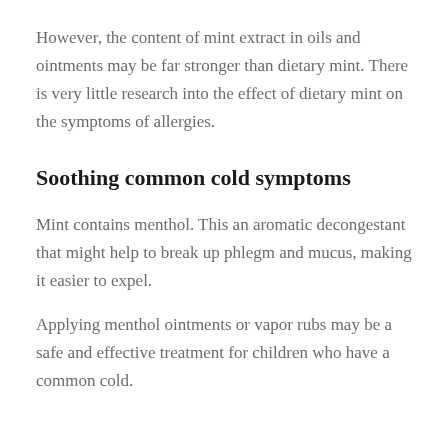However, the content of mint extract in oils and ointments may be far stronger than dietary mint. There is very little research into the effect of dietary mint on the symptoms of allergies.
Soothing common cold symptoms
Mint contains menthol. This an aromatic decongestant that might help to break up phlegm and mucus, making it easier to expel.
Applying menthol ointments or vapor rubs may be a safe and effective treatment for children who have a common cold.